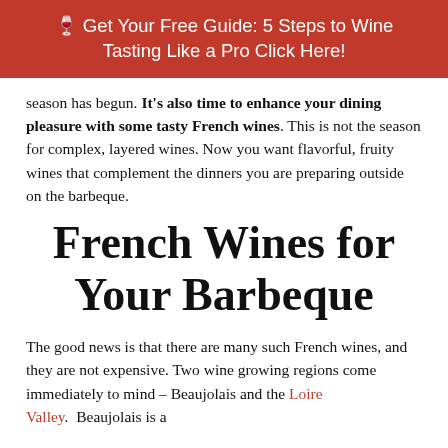🍷 Get Your Free Guide: 5 Steps to Wine Tasting Like a Pro Click Here!
season has begun. It's also time to enhance your dining pleasure with some tasty French wines. This is not the season for complex, layered wines. Now you want flavorful, fruity wines that complement the dinners you are preparing outside on the barbeque.
French Wines for Your Barbeque
The good news is that there are many such French wines, and they are not expensive. Two wine growing regions come immediately to mind – Beaujolais and the Loire Valley.  Beaujolais is a